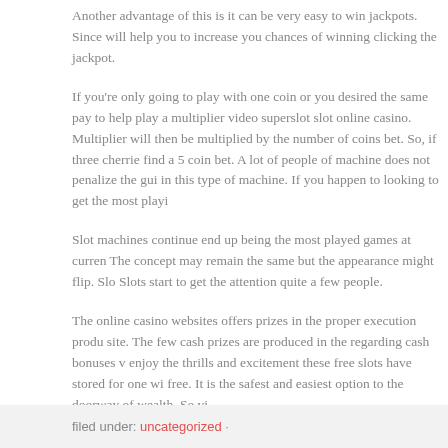Another advantage of this is it can be very easy to win jackpots. Since will help you to increase you chances of winning clicking the jackpot.
If you're only going to play with one coin or you desired the same pay to help play a multiplier video superslot slot online casino. Multiplier will then be multiplied by the number of coins bet. So, if three cherrie find a 5 coin bet. A lot of people of machine does not penalize the gui in this type of machine. If you happen to looking to get the most playi
Slot machines continue end up being the most played games at curren The concept may remain the same but the appearance might flip. Slo Slots start to get the attention quite a few people.
The online casino websites offers prizes in the proper execution produ site. The few cash prizes are produced in the regarding cash bonuses v enjoy the thrills and excitement these free slots have stored for one wi free. It is the safest and easiest option to the doorway of wealth. So vi
filed under: uncategorized ·